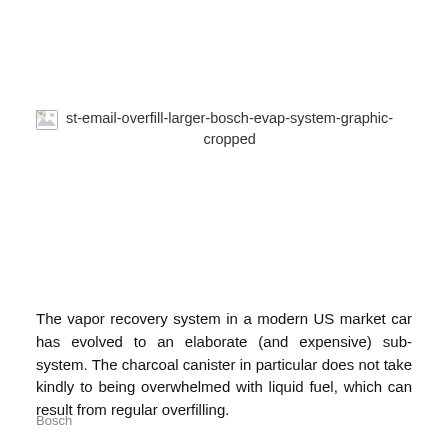[Figure (other): Broken image placeholder with alt text: st-email-overfill-larger-bosch-evap-system-graphic-cropped]
The vapor recovery system in a modern US market car has evolved to an elaborate (and expensive) sub-system. The charcoal canister in particular does not take kindly to being overwhelmed with liquid fuel, which can result from regular overfilling.
Bosch